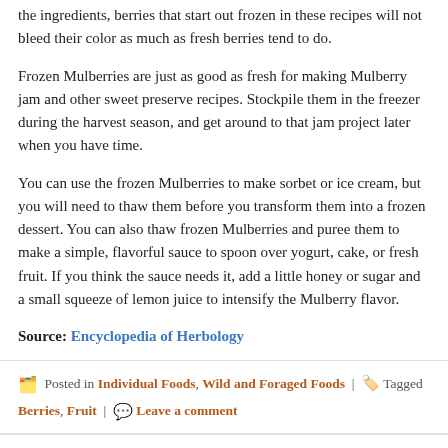the ingredients, berries that start out frozen in these recipes will not bleed their color as much as fresh berries tend to do.
Frozen Mulberries are just as good as fresh for making Mulberry jam and other sweet preserve recipes. Stockpile them in the freezer during the harvest season, and get around to that jam project later when you have time.
You can use the frozen Mulberries to make sorbet or ice cream, but you will need to thaw them before you transform them into a frozen dessert. You can also thaw frozen Mulberries and puree them to make a simple, flavorful sauce to spoon over yogurt, cake, or fresh fruit. If you think the sauce needs it, add a little honey or sugar and a small squeeze of lemon juice to intensify the Mulberry flavor.
Source: Encyclopedia of Herbology
Posted in Individual Foods, Wild and Foraged Foods | Tagged Berries, Fruit | Leave a comment
Mulberry Wine
Published July 2, 2020 | By shirleytwofeathers